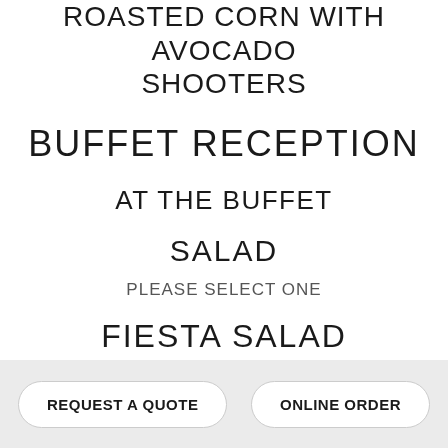ROASTED CORN WITH AVOCADO SHOOTERS
BUFFET RECEPTION
AT THE BUFFET
SALAD
PLEASE SELECT ONE
FIESTA SALAD
WITH BLACK BEANS, JICAMA, TOMATOES, WITH SWEET CORN AND JALAPENO DRESSING
REQUEST A QUOTE | ONLINE ORDER